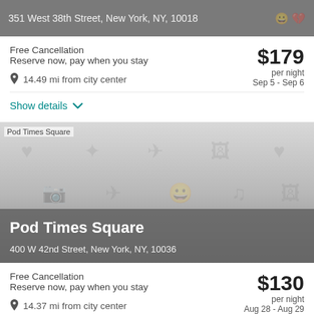351 West 38th Street, New York, NY, 10018
Free Cancellation
Reserve now, pay when you stay
14.49 mi from city center
$179 per night
Sep 5 - Sep 6
Show details
[Figure (photo): Pod Times Square hotel image placeholder with icon pattern background]
Pod Times Square
400 W 42nd Street, New York, NY, 10036
Free Cancellation
Reserve now, pay when you stay
14.37 mi from city center
$130 per night
Aug 28 - Aug 29